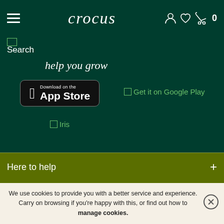crocus
Search
help you grow
[Figure (screenshot): Download on the App Store button - black rounded rectangle with Apple logo, text 'Download on the' and 'App Store']
[Figure (screenshot): Get it on Google Play broken image placeholder with green text]
[Figure (photo): Iris broken image placeholder]
Here to help
Shopping with us
We use cookies to provide you with a better service and experience. Carry on browsing if you're happy with this, or find out how to manage cookies.